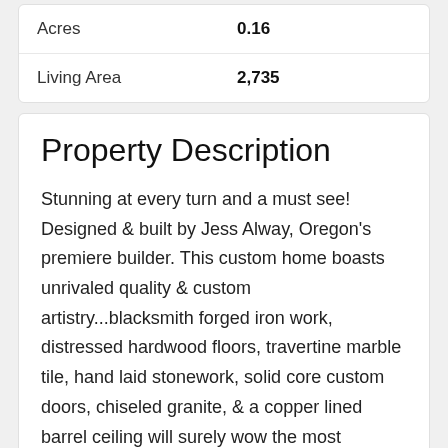|  |  |
| --- | --- |
| Acres | 0.16 |
| Living Area | 2,735 |
Property Description
Stunning at every turn and a must see! Designed & built by Jess Alway, Oregon's premiere builder. This custom home boasts unrivaled quality & custom artistry...blacksmith forged iron work, distressed hardwood floors, travertine marble tile, hand laid stonework, solid core custom doors, chiseled granite, & a copper lined barrel ceiling will surely wow the most discerning buyer. Vaulted ceilings w/multiple overhead timber-pegged trusses open to the great room & chef's kitchen.